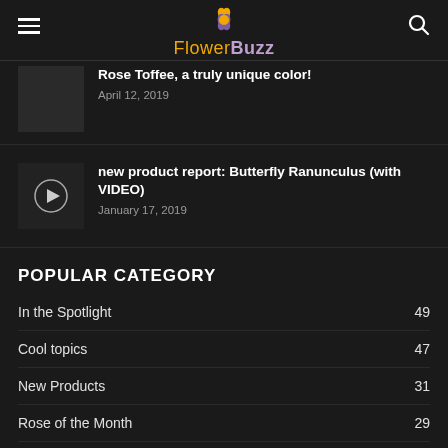FlowerBuzz
Rose Toffee, a truly unique color!
April 12, 2019
new product report: Butterfly Ranunculus (with VIDEO)
January 17, 2019
POPULAR CATEGORY
In the Spotlight 49
Cool topics 47
New Products 31
Rose of the Month 29
State Flower 23